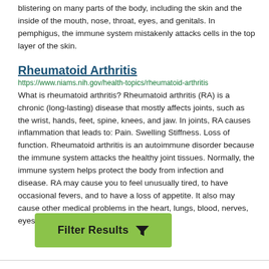blistering on many parts of the body, including the skin and the inside of the mouth, nose, throat, eyes, and genitals. In pemphigus, the immune system mistakenly attacks cells in the top layer of the skin.
Rheumatoid Arthritis
https://www.niams.nih.gov/health-topics/rheumatoid-arthritis
What is rheumatoid arthritis? Rheumatoid arthritis (RA) is a chronic (long-lasting) disease that mostly affects joints, such as the wrist, hands, feet, spine, knees, and jaw. In joints, RA causes inflammation that leads to: Pain. Swelling Stiffness. Loss of function. Rheumatoid arthritis is an autoimmune disorder because the immune system attacks the healthy joint tissues. Normally, the immune system helps protect the body from infection and disease. RA may cause you to feel unusually tired, to have occasional fevers, and to have a loss of appetite. It also may cause other medical problems in the heart, lungs, blood, nerves, eyes
[Figure (other): Green 'Filter Results' button with a funnel/filter icon]